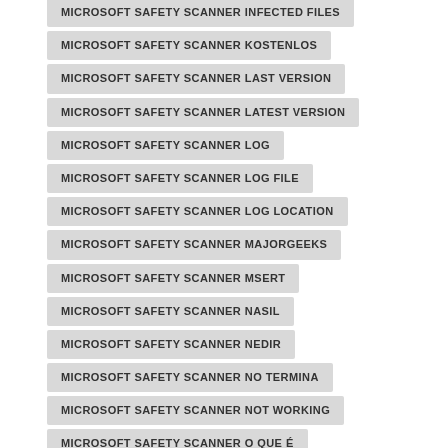MICROSOFT SAFETY SCANNER INFECTED FILES
MICROSOFT SAFETY SCANNER KOSTENLOS
MICROSOFT SAFETY SCANNER LAST VERSION
MICROSOFT SAFETY SCANNER LATEST VERSION
MICROSOFT SAFETY SCANNER LOG
MICROSOFT SAFETY SCANNER LOG FILE
MICROSOFT SAFETY SCANNER LOG LOCATION
MICROSOFT SAFETY SCANNER MAJORGEEKS
MICROSOFT SAFETY SCANNER MSERT
MICROSOFT SAFETY SCANNER NASIL
MICROSOFT SAFETY SCANNER NEDIR
MICROSOFT SAFETY SCANNER NO TERMINA
MICROSOFT SAFETY SCANNER NOT WORKING
MICROSOFT SAFETY SCANNER O QUE É
MICROSOFT SAFETY SCANNER ONLINE